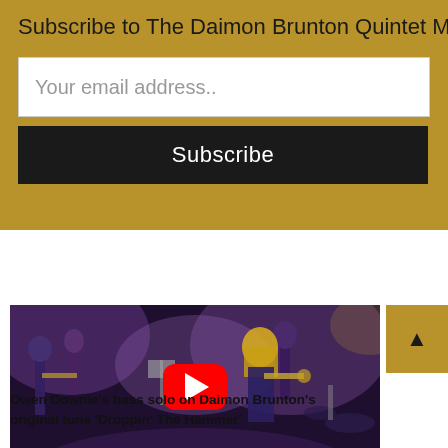Subscribe to The Daimon Brunton Quintet Mailing List
Your email address..
Subscribe
[Figure (screenshot): YouTube video thumbnail showing musicians performing on stage with purple lighting. A woman with blonde hair plays trumpet at center. Other musicians with guitars, violins, and drums are visible in background. A red YouTube play button is overlaid in the center.]
Owen Downie's bass solo on Daimon Brunton's original tune ‘Droppin’ The Hammer’